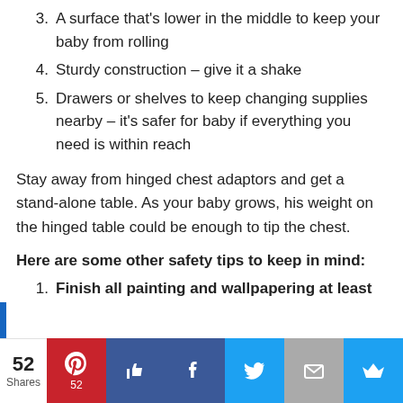3. A surface that's lower in the middle to keep your baby from rolling
4. Sturdy construction – give it a shake
5. Drawers or shelves to keep changing supplies nearby – it's safer for baby if everything you need is within reach
Stay away from hinged chest adaptors and get a stand-alone table. As your baby grows, his weight on the hinged table could be enough to tip the chest.
Here are some other safety tips to keep in mind:
1. Finish all painting and wallpapering at least